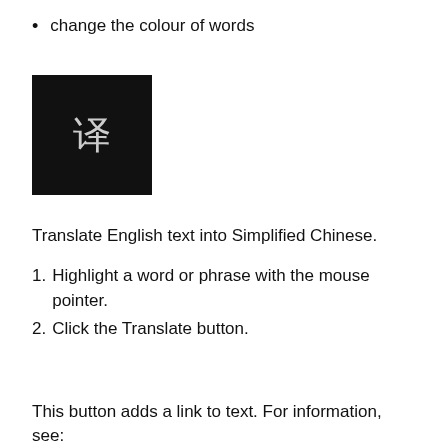change the colour of words
[Figure (screenshot): Black square icon with the Chinese character 译 (translate) in grey/silver text on a black background]
Translate English text into Simplified Chinese.
Highlight a word or phrase with the mouse pointer.
Click the Translate button.
This button adds a link to text. For information, see: